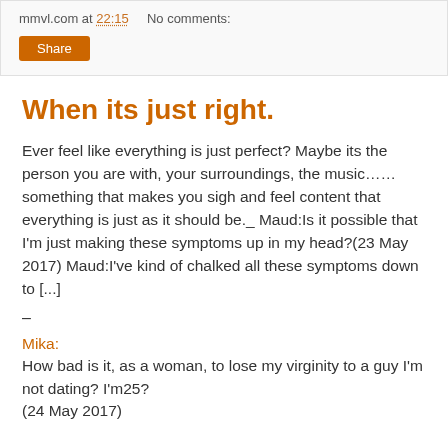mmvl.com at 22:15   No comments:
When its just right.
Ever feel like everything is just perfect? Maybe its the person you are with, your surroundings, the music……something that makes you sigh and feel content that everything is just as it should be._ Maud:Is it possible that I'm just making these symptoms up in my head?(23 May 2017) Maud:I've kind of chalked all these symptoms down to [...]
–
Mika:
How bad is it, as a woman, to lose my virginity to a guy I'm not dating? I'm25?
(24 May 2017)